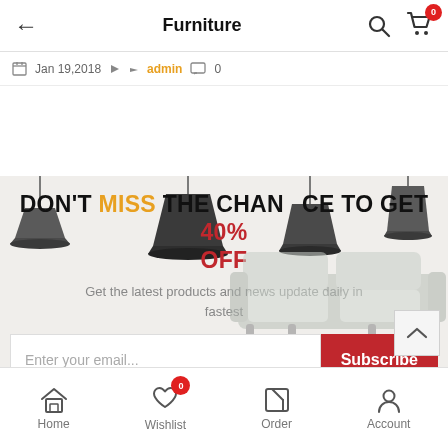Furniture
Jan 19, 2018 | admin | 0
[Figure (infographic): Promotional newsletter signup banner with pendant lamp illustrations, sofa background, headline 'DON'T MISS THE CHANCE TO GET 40% OFF', subtext 'Get the latest products and news update daily in fastest', and email subscribe input with Subscribe button]
Home | Wishlist | Order | Account